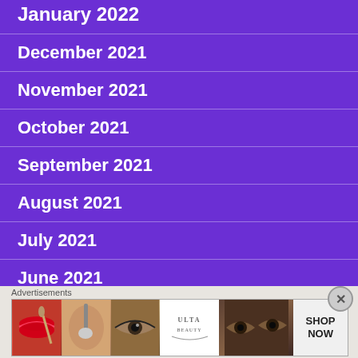January 2022
December 2021
November 2021
October 2021
September 2021
August 2021
July 2021
June 2021
Advertisements
[Figure (photo): Ulta Beauty advertisement banner showing makeup images: red lips with brush, eye with mascara, Ulta Beauty logo, dramatic eye makeup, and SHOP NOW text]